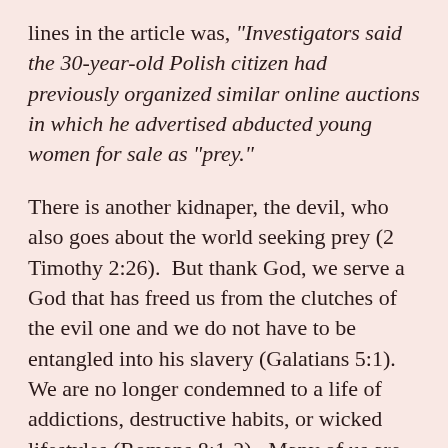lines in the article was, "Investigators said the 30-year-old Polish citizen had previously organized similar online auctions in which he advertised abducted young women for sale as "prey."
There is another kidnaper, the devil, who also goes about the world seeking prey (2 Timothy 2:26).  But thank God, we serve a God that has freed us from the clutches of the evil one and we do not have to be entangled into his slavery (Galatians 5:1).  We are no longer condemned to a life of addictions, destructive habits, or wicked lifestyles (Romans 8:1-2).  Many of us are slaves to various sins from which we would love to be free. But Jesus has already set us free (John 8:34, 36).